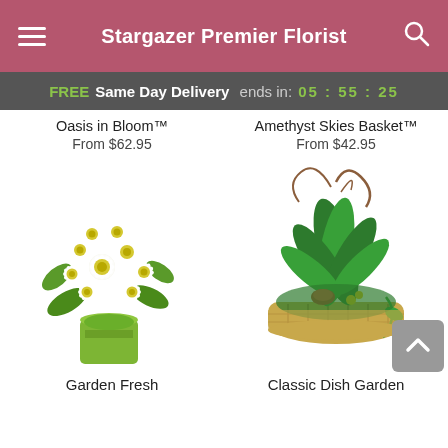Stargazer Premier Florist
FREE Same Day Delivery ends in: 05 : 55 : 25
Oasis in Bloom™
From $62.95
Amethyst Skies Basket™
From $42.95
[Figure (photo): White daisy bouquet in a green square vase (Garden Fresh)]
[Figure (photo): Tropical dish garden with green plants and red bromeliad in a wicker basket (Classic Dish Garden)]
Garden Fresh
Classic Dish Garden